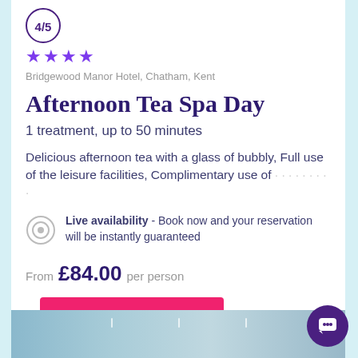4/5
★★★★
Bridgewood Manor Hotel, Chatham, Kent
Afternoon Tea Spa Day
1 treatment, up to 50 minutes
Delicious afternoon tea with a glass of bubbly, Full use of the leisure facilities, Complimentary use of
Live availability - Book now and your reservation will be instantly guaranteed
From £84.00 per person
View Spa Deal →
[Figure (photo): Hotel interior photo strip at bottom of page]